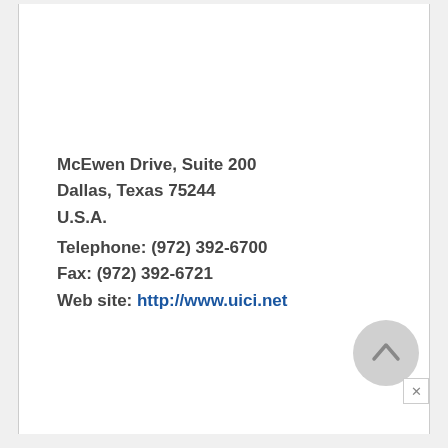McEwen Drive, Suite 200
Dallas, Texas 75244
U.S.A.
Telephone: (972) 392-6700
Fax: (972) 392-6721
Web site: http://www.uici.net